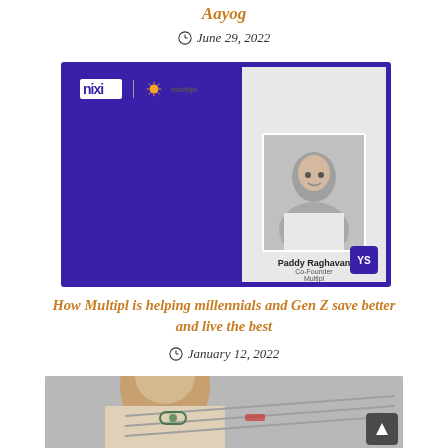Aayog
June 29, 2022
[Figure (screenshot): NIXI and Multipl branded event card titled 'Shaping India.Inc's Online Growth' featuring Paddy Raghavan with a YS badge]
How Multipl is helping millennials and Gen Z save better and live the best
January 12, 2022
[Figure (photo): Partial photo of a person wearing glasses, bottom portion of page]